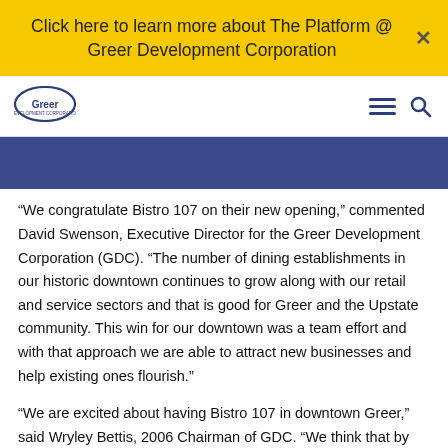Click here to learn more about The Platform @ Greer Development Corporation
[Figure (logo): Greer Development Corporation logo — oval shape with 'Greer' text]
“We congratulate Bistro 107 on their new opening,” commented David Swenson, Executive Director for the Greer Development Corporation (GDC). “The number of dining establishments in our historic downtown continues to grow along with our retail and service sectors and that is good for Greer and the Upstate community. This win for our downtown was a team effort and with that approach we are able to attract new businesses and help existing ones flourish.”
“We are excited about having Bistro 107 in downtown Greer,” said Wryley Bettis, 2006 Chairman of GDC. “We think that by their presence and the addition of many others we are continuing to make Greer the location of choice in the Greenville & Spartanburg market. Balancing our community’s excellent quality of life with the commitments of new and